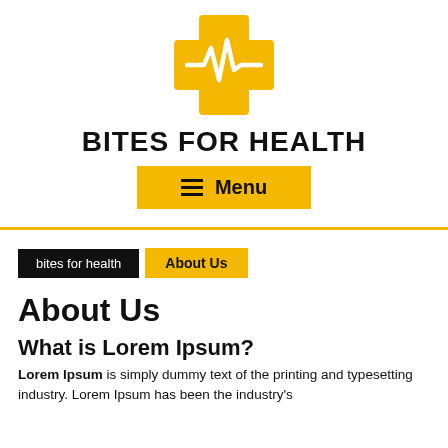[Figure (logo): Yellow medical cross with white heartbeat/ECG line running through the center]
BITES FOR HEALTH
≡  Menu
bites for health   About Us
About Us
What is Lorem Ipsum?
Lorem Ipsum is simply dummy text of the printing and typesetting industry. Lorem Ipsum has been the industry's